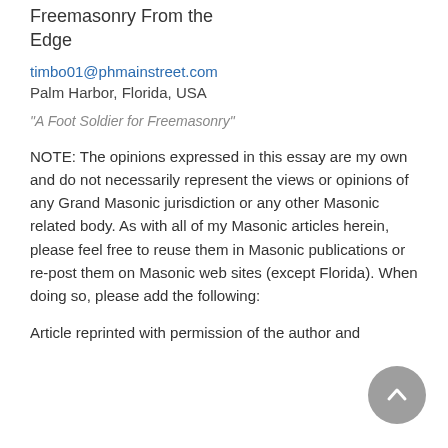Freemasonry From the Edge
timbo01@phmainstreet.com
Palm Harbor, Florida, USA
“A Foot Soldier for Freemasonry”
NOTE: The opinions expressed in this essay are my own and do not necessarily represent the views or opinions of any Grand Masonic jurisdiction or any other Masonic related body. As with all of my Masonic articles herein, please feel free to reuse them in Masonic publications or re-post them on Masonic web sites (except Florida). When doing so, please add the following:
Article reprinted with permission of the author and